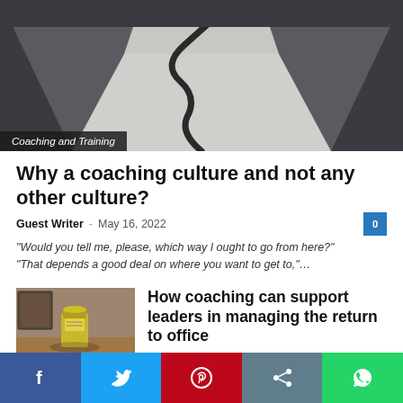[Figure (photo): Aerial view of a winding road on a light grey surface receding into dark background, with a curving black line path.]
Coaching and Training
Why a coaching culture and not any other culture?
Guest Writer - May 16, 2022  0
“Would you tell me, please, which way I ought to go from here?” “That depends a good deal on where you want to get to,”…
[Figure (photo): Small thumbnail photo showing a candle jar and items on a wooden surface with a blurred background.]
How coaching can support leaders in managing the return to office
Guest Writer - May 10, 2022
[Figure (infographic): Social share bar with Facebook, Twitter, Pinterest, Share, and WhatsApp buttons.]